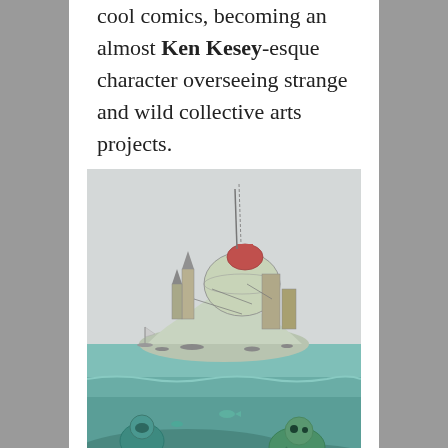cool comics, becoming an almost Ken Kesey-esque character overseeing strange and wild collective arts projects.
[Figure (illustration): Detailed pen-and-ink style illustration showing a fantastical floating island city with domes, towers, and machinery above a teal-green sea. Below the waterline, underwater figures including armored characters and sea creatures are visible on the ocean floor.]